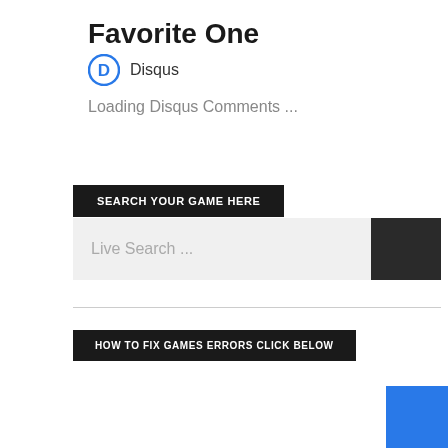Favorite One
Disqus
Loading Disqus Comments ...
SEARCH YOUR GAME HERE
Live Search ...
HOW TO FIX GAMES ERRORS CLICK BELOW